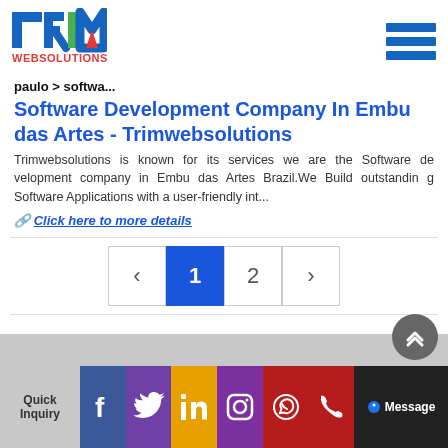[Figure (logo): TRIM WEBSOLUTIONS logo with colorful T-R-I-M letters and red WEBSOLUTIONS text below]
paulo > softwa...
Software Development Company In Embu das Artes - Trimwebsolutions
Trimwebsolutions is known for its services we are the Software development company in Embu das Artes Brazil.We Build outstanding Software Applications with a user-friendly int...
🔗 Click here to more details
‹  1  2  ›
Quick Inquiry